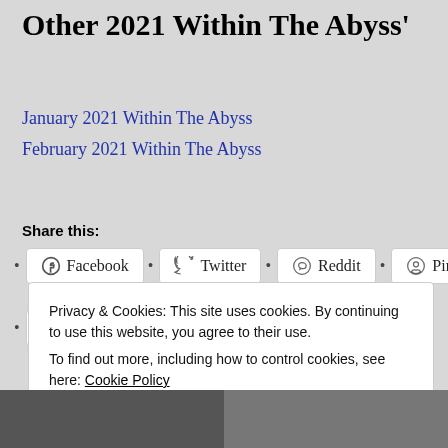Other 2021 Within The Abyss'
January 2021 Within The Abyss
February 2021 Within The Abyss
Share this:
Facebook  Twitter  Reddit  Pinterest  WhatsApp  Email
Like this:
Privacy & Cookies: This site uses cookies. By continuing to use this website, you agree to their use. To find out more, including how to control cookies, see here: Cookie Policy
Close and accept
[Figure (photo): Two black and white photos partially visible at the bottom of the page]